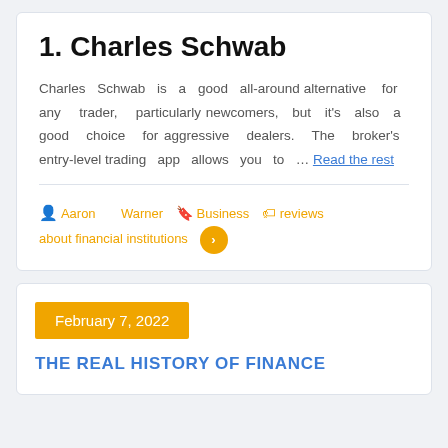1. Charles Schwab
Charles Schwab is a good all-around alternative for any trader, particularly newcomers, but it's also a good choice for aggressive dealers. The broker's entry-level trading app allows you to … Read the rest
Aaron   Warner  Business   reviews about financial institutions
February 7, 2022
THE REAL HISTORY OF FINANCE